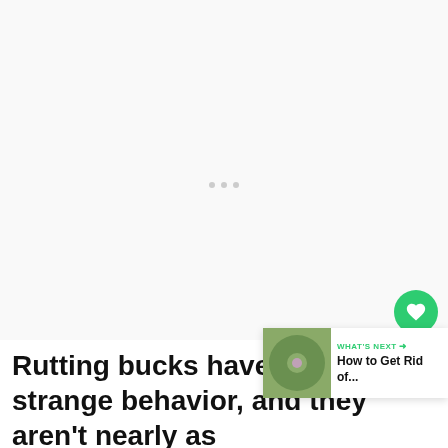[Figure (other): Large white advertisement placeholder area with three small gray dots centered in the middle]
245
Rutting bucks have very strange behavior, and they aren't nearly as
WHAT'S NEXT → How to Get Rid of...